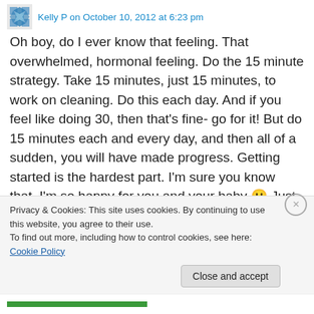Kelly P on October 10, 2012 at 6:23 pm
Oh boy, do I ever know that feeling. That overwhelmed, hormonal feeling. Do the 15 minute strategy. Take 15 minutes, just 15 minutes, to work on cleaning. Do this each day. And if you feel like doing 30, then that's fine- go for it! But do 15 minutes each and every day, and then all of a sudden, you will have made progress. Getting started is the hardest part. I'm sure you know that. I'm so happy for you and your baby 🙂 Just remember to be gentle with
Privacy & Cookies: This site uses cookies. By continuing to use this website, you agree to their use.
To find out more, including how to control cookies, see here: Cookie Policy
Close and accept